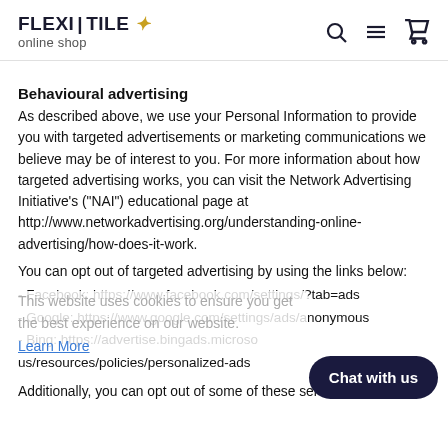FLEXI|TILE online shop — navigation header with search, menu, cart icons
Behavioural advertising
As described above, we use your Personal Information to provide you with targeted advertisements or marketing communications we believe may be of interest to you. For more information about how targeted advertising works, you can visit the Network Advertising Initiative's ("NAI") educational page at http://www.networkadvertising.org/understanding-online-advertising/how-does-it-work.
You can opt out of targeted advertising by using the links below:
- Facebook: https://www.facebook.com/settings/?tab=ads
- Google: https://www.google.com/settings/ads/anonymous
- Bing: https://advertise.bingads.microsoft.com/en-us/resources/policies/personalized-ads
Additionally, you can opt out of some of these services by